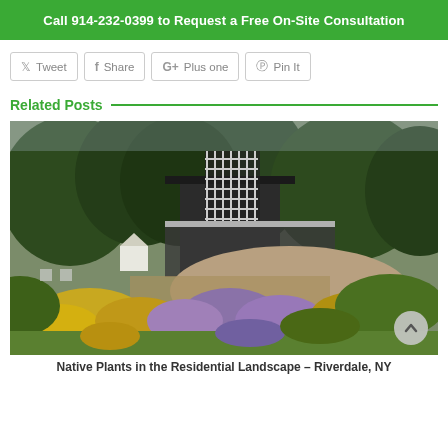Call 914-232-0399 to Request a Free On-Site Consultation
Tweet
Share
Plus one
Pin It
Related Posts
[Figure (photo): Garden scene with native flowering plants in foreground (yellow and purple wildflowers, greenery) and a dark wooden house structure with a lattice trellis behind, surrounded by large trees. A circular back-to-top arrow button is overlaid on the lower right.]
Native Plants in the Residential Landscape – Riverdale, NY